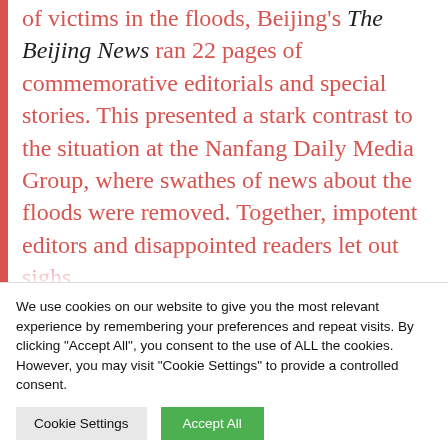of victims in the floods, Beijing's The Beijing News ran 22 pages of commemorative editorials and special stories. This presented a stark contrast to the situation at the Nanfang Daily Media Group, where swathes of news about the floods were removed. Together, impotent editors and disappointed readers let out sighs.
We use cookies on our website to give you the most relevant experience by remembering your preferences and repeat visits. By clicking "Accept All", you consent to the use of ALL the cookies. However, you may visit "Cookie Settings" to provide a controlled consent.